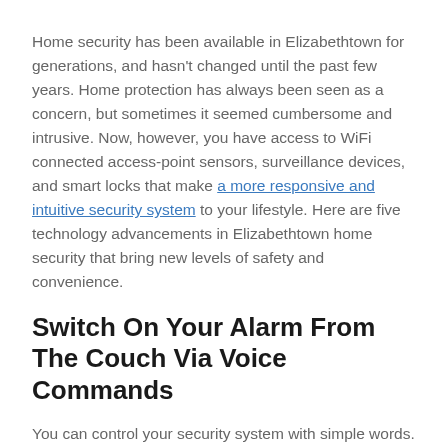Home security has been available in Elizabethtown for generations, and hasn't changed until the past few years. Home protection has always been seen as a concern, but sometimes it seemed cumbersome and intrusive. Now, however, you have access to WiFi connected access-point sensors, surveillance devices, and smart locks that make a more responsive and intuitive security system to your lifestyle. Here are five technology advancements in Elizabethtown home security that bring new levels of safety and convenience.
Switch On Your Alarm From The Couch Via Voice Commands
You can control your security system with simple words. Verbalized instructions don't require your